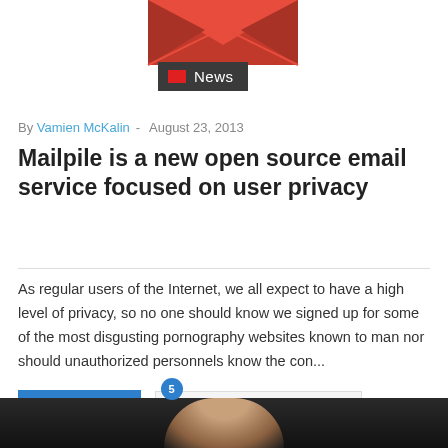[Figure (illustration): Red envelope/mail icon (partially cropped at top) with a dark grey badge reading 'News' with a red rectangle icon]
By Vamien McKalin  -  August 23, 2013
Mailpile is a new open source email service focused on user privacy
As regular users of the Internet, we all expect to have a high level of privacy, so no one should know we signed up for some of the most disgusting pornography websites known to man nor should unauthorized personnels know the con...
Read More
5  LEAVE COMMENT
[Figure (photo): Bottom portion of a person's face/head, partially visible, dark background]